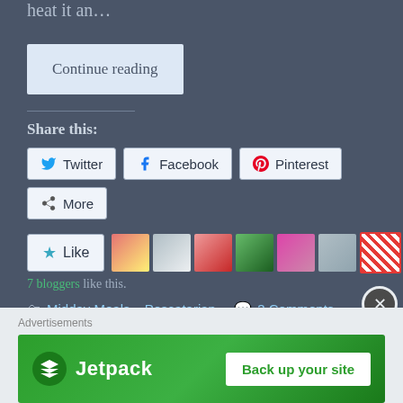heat it an…
Continue reading
Share this:
Twitter  Facebook  Pinterest  More
[Figure (other): Like button with star icon and 7 blogger avatar thumbnails]
7 bloggers like this.
Midday Meals, Pescatarian   3 Comments
20th Sep 2019
[Figure (other): Jetpack advertisement banner with Back up your site button]